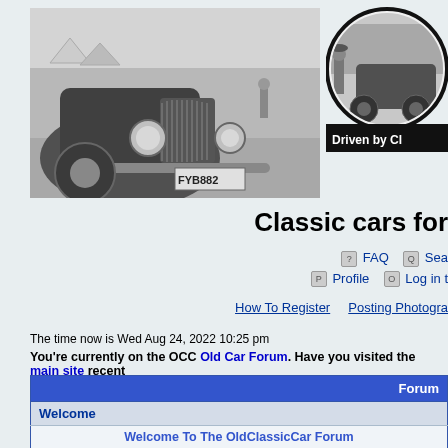[Figure (photo): Black and white photo of a classic vintage car front view with license plate FYB882 at an outdoor event]
[Figure (photo): Circular black and white logo photo showing a person standing next to a vintage classic car outdoors, with text 'Driven by Cl...' on black bar below]
Classic cars for...
FAQ  Search  Profile  Log in t...
How To Register    Posting Photogra...
The time now is Wed Aug 24, 2022 10:25 pm
You're currently on the OCC Old Car Forum. Have you visited the main site recent...
| Forum |
| --- |
| Welcome |
| Welcome To The OldClassicCar Forum |